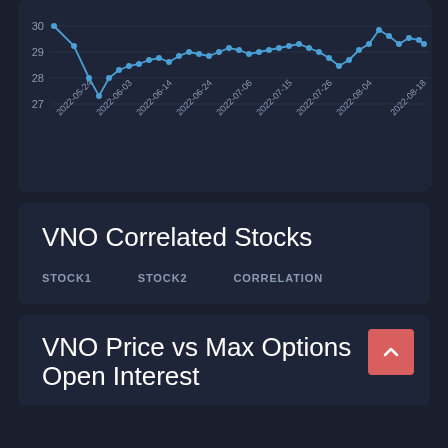[Figure (continuous-plot): VNO stock price line chart showing price range approximately 27-30 from 2022-05-24 to 2022-08-18, with blue line and dot markers on dark background. Y-axis labels: 27, 28, 29, 30. X-axis dates: 2022-05-24, 2022-06-03, 2022-06-14, 2022-06-24, 2022-07-06, 2022-07-15, 2022-07-26, 2022-08-04, 2022-08-18.]
VNO Correlated Stocks
| STOCK1 | STOCK2 | CORRELATION |
| --- | --- | --- |
VNO Price vs Max Options Open Interest